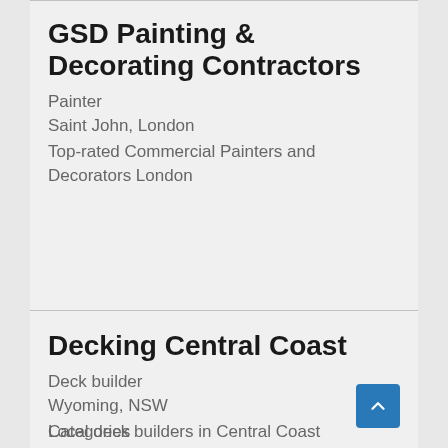GSD Painting & Decorating Contractors
Painter
Saint John, London
Top-rated Commercial Painters and Decorators London
Decking Central Coast
Deck builder
Wyoming, NSW
Local deck builders in Central Coast
Categories